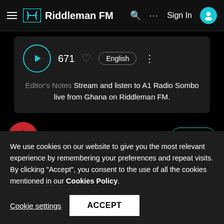Riddleman FM
[Figure (screenshot): Player card with play button, 671 play count, heart icon, English badge, and editor's notes: 'Stream and listen to A1 Radio Sombo live from Ghana on Riddleman FM.']
Editor's Notes Stream and listen to A1 Radio Sombo live from Ghana on Riddleman FM.
Ghana (verified) Follow
We use cookies on our website to give you the most relevant experience by remembering your preferences and repeat visits. By clicking "Accept", you consent to the use of all the cookies mentioned in our Cookies Policy.
Cookie settings  ACCEPT